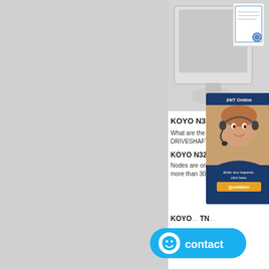[Figure (photo): Product image area showing a monitor on a desk with a certification document/certificate visible in the top right. Gray background.]
[Figure (photo): 24/7 Online chat widget showing a woman with a headset and text 'Enter any requests, click here.' with a Quotation button.]
KOYO N322 bea...
What are the types... DRIVESHAFT,INC....
KOYO N322 bearing Beari...
Nodes are one of the biggest d... more than 300,000 types of be...
[Figure (infographic): Blue contact bubble button with a smiley face icon and the word 'contact']
KOYO... TN...